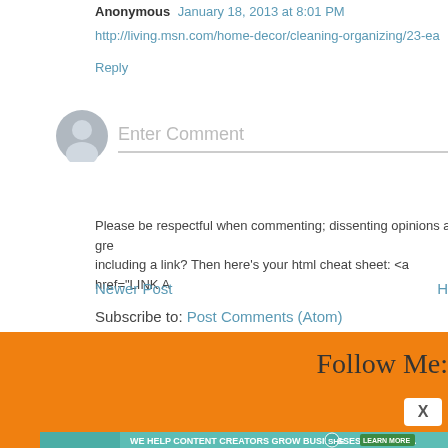Anonymous January 18, 2013 at 8:01 PM
http://living.msn.com/home-decor/cleaning-organizing/23-ea
Reply
[Figure (illustration): Generic user avatar: gray circle with silhouette of a person]
Enter Comment
Please be respectful when commenting; dissenting opinions are gre including a link? Then here's your html cheat sheet: <a href="LINK A
Newer Post
H
Subscribe to: Post Comments (Atom)
Follow Me:
X
[Figure (advertisement): SHE Partner Network ad banner on teal background: woman with tablet, text WE HELP CONTENT CREATORS GROW BUSINESSES THROUGH..., SHE logo, LEARN MORE button, BECOME A MEMBER]